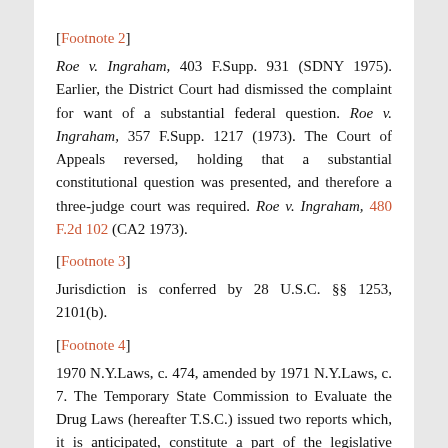[Footnote 2]
Roe v. Ingraham, 403 F.Supp. 931 (SDNY 1975). Earlier, the District Court had dismissed the complaint for want of a substantial federal question. Roe v. Ingraham, 357 F.Supp. 1217 (1973). The Court of Appeals reversed, holding that a substantial constitutional question was presented, and therefore a three-judge court was required. Roe v. Ingraham, 480 F.2d 102 (CA2 1973).
[Footnote 3]
Jurisdiction is conferred by 28 U.S.C. §§ 1253, 2101(b).
[Footnote 4]
1970 N.Y.Laws, c. 474, amended by 1971 N.Y.Laws, c. 7. The Temporary State Commission to Evaluate the Drug Laws (hereafter T.S.C.) issued two reports which, it is anticipated, constitute a part of the legislative history of